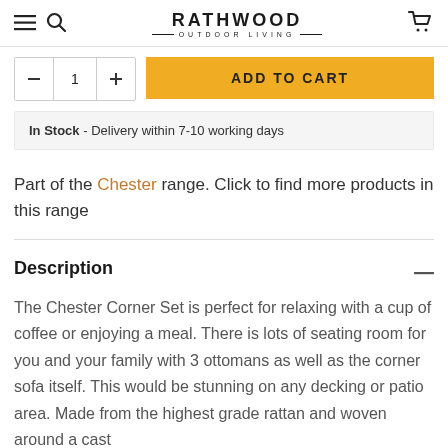RATHWOOD OUTDOOR LIVING
In Stock - Delivery within 7-10 working days
Part of the Chester range. Click to find more products in this range
Description
The Chester Corner Set is perfect for relaxing with a cup of coffee or enjoying a meal. There is lots of seating room for you and your family with 3 ottomans as well as the corner sofa itself. This would be stunning on any decking or patio area. Made from the highest grade rattan and woven around a cast